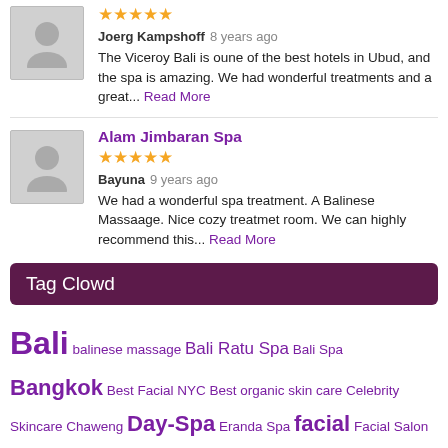[Figure (illustration): Grey avatar placeholder icon for first review]
★★★★★
Joerg Kampshoff 8 years ago
The Viceroy Bali is oune of the best hotels in Ubud, and the spa is amazing. We had wonderful treatments and a great... Read More
[Figure (illustration): Grey avatar placeholder icon for second review]
Alam Jimbaran Spa
★★★★★
Bayuna 9 years ago
We had a wonderful spa treatment. A Balinese Massaage. Nice cozy treatmet room. We can highly recommend this... Read More
Tag Clowd
Bali balinese massage Bali Ratu Spa Bali Spa Bangkok Best Facial NYC Best organic skin care Celebrity Skincare Chaweng Day-Spa Eranda Spa facial Facial Salon hair dye colors hair styles hot-stone massage Indonesia Italy Jakarta Jimbaran Ko SAmio Kunthi Spa laser hair removal Lombok massage natural skin care products nyc day spa Oasis Day Spa organic luxury skin care Puri Mas Spa Reflexology Resort Samui Sanctuary Resort Camelback Mountain